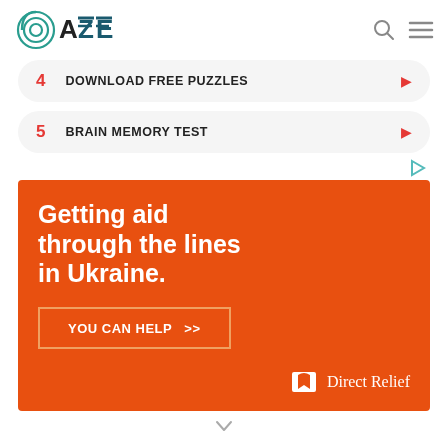OAZE
4   DOWNLOAD FREE PUZZLES
5   BRAIN MEMORY TEST
[Figure (infographic): Orange Direct Relief advertisement banner with text 'Getting aid through the lines in Ukraine.' and a 'YOU CAN HELP >>' button, with the Direct Relief logo at the bottom right.]